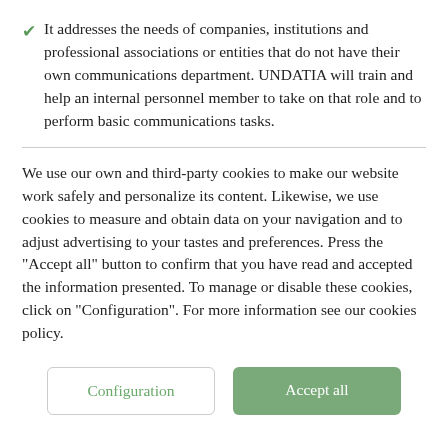✔ It addresses the needs of companies, institutions and professional associations or entities that do not have their own communications department. UNDATIA will train and help an internal personnel member to take on that role and to perform basic communications tasks.
We use our own and third-party cookies to make our website work safely and personalize its content. Likewise, we use cookies to measure and obtain data on your navigation and to adjust advertising to your tastes and preferences. Press the "Accept all" button to confirm that you have read and accepted the information presented. To manage or disable these cookies, click on "Configuration". For more information see our cookies policy.
Configuration
Accept all